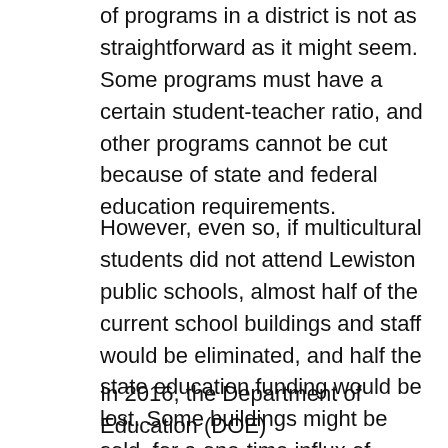of programs in a district is not as straightforward as it might seem. Some programs must have a certain student-teacher ratio, and other programs cannot be cut because of state and federal education requirements.
However, even so, if multicultural students did not attend Lewiston public schools, almost half of the current school buildings and staff would be eliminated, and half the state education funding would be lost. Some buildings might be sold, for a one-time influx of revenue, but nearly half the staff and half the state's funding would be cut.
In 2016, the Department of Education (DOE)